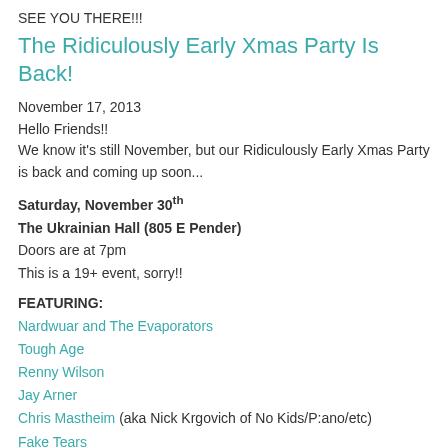SEE YOU THERE!!!
The Ridiculously Early Xmas Party Is Back!
November 17, 2013
Hello Friends!!
We know it's still November, but our Ridiculously Early Xmas Party is back and coming up soon...
Saturday, November 30th
The Ukrainian Hall (805 E Pender)
Doors are at 7pm
This is a 19+ event, sorry!!
FEATURING:
Nardwuar and The Evaporators
Tough Age
Renny Wilson
Jay Arner
Chris Mastheim (aka Nick Krgovich of No Kids/P:ano/etc)
Fake Tears
Shawn Mrazek Lives!
DJ Duncan McHugh (host of Duncan's Donuts on CiTR)